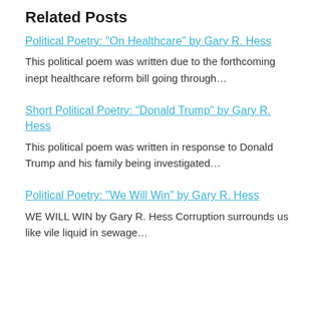Related Posts
Political Poetry: "On Healthcare" by Gary R. Hess
This political poem was written due to the forthcoming inept healthcare reform bill going through…
Short Political Poetry: "Donald Trump" by Gary R. Hess
This political poem was written in response to Donald Trump and his family being investigated…
Political Poetry: "We Will Win" by Gary R. Hess
WE WILL WIN by Gary R. Hess Corruption surrounds us like vile liquid in sewage…